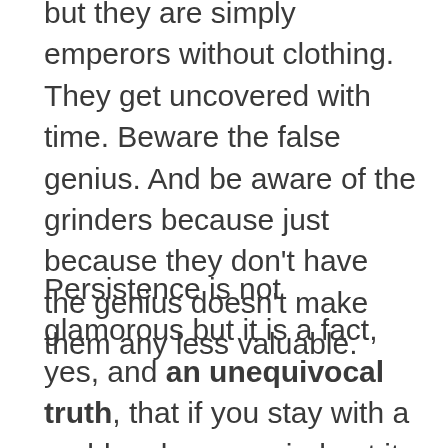but they are simply emperors without clothing. They get uncovered with time. Beware the false genius. And be aware of the grinders because just because they don't have the genius doesn't make them any less valuable.
Persistence is not glamorous but it is a fact, yes, and an unequivocal truth, that if you stay with a problem longer, grind out it out as it were, you will become smarter.